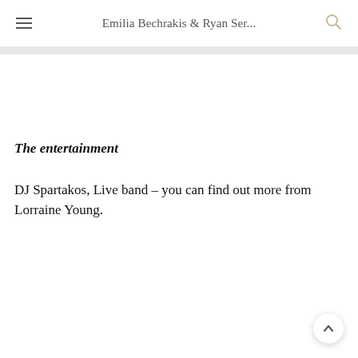Emilia Bechrakis & Ryan Ser...
The entertainment
DJ Spartakos, Live band – you can find out more from Lorraine Young.